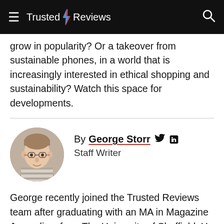Trusted Reviews
grow in popularity? Or a takeover from sustainable phones, in a world that is increasingly interested in ethical shopping and sustainability? Watch this space for developments.
By George Storr
Staff Writer
[Figure (photo): Circular headshot of George Storr, a young man with short hair and glasses, wearing a striped shirt]
George recently joined the Trusted Reviews team after graduating with an MA in Magazine Journalism from The University of Sheffield. He was previously Tech Editor for The National Student and won 'BBC...